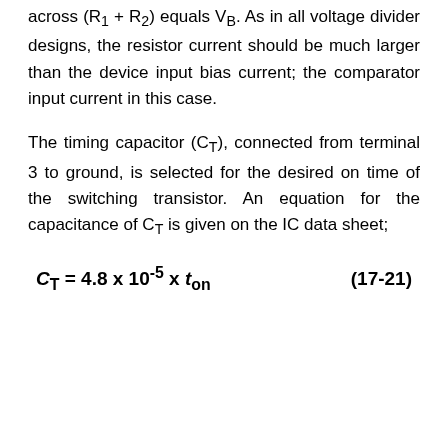across (R1 + R2) equals VB. As in all voltage divider designs, the resistor current should be much larger than the device input bias current; the comparator input current in this case.
The timing capacitor (CT), connected from terminal 3 to ground, is selected for the desired on time of the switching transistor. An equation for the capacitance of CT is given on the IC data sheet;